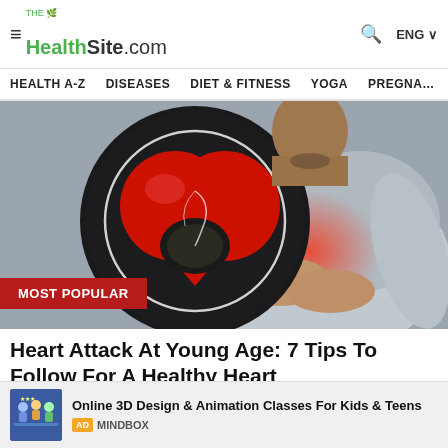TheHealthSite.com — HEALTH A-Z  DISEASES  DIET & FITNESS  YOGA  PREGNA…
[Figure (photo): Man clutching chest with red glow indicating pain; circular inset showing anatomical heart with dark lesion. Badge reading MOST POPULAR in dark red.]
Heart Attack At Young Age: 7 Tips To Follow For A Healthy Heart
The Health Site
Online 3D Design & Animation Classes For Kids & Teens AD MINDBOX